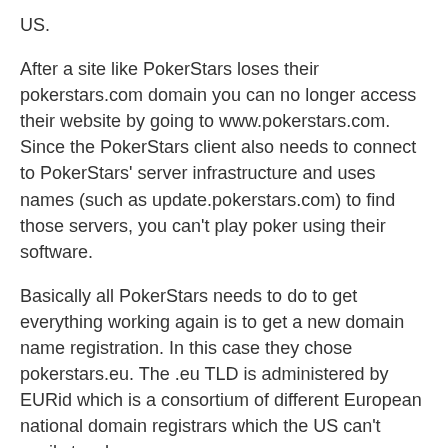US.
After a site like PokerStars loses their pokerstars.com domain you can no longer access their website by going to www.pokerstars.com. Since the PokerStars client also needs to connect to PokerStars' server infrastructure and uses names (such as update.pokerstars.com) to find those servers, you can't play poker using their software.
Basically all PokerStars needs to do to get everything working again is to get a new domain name registration. In this case they chose pokerstars.eu. The .eu TLD is administered by EURid which is a consortium of different European national domain registrars which the US can't easily touch.
They didn't have to pick pokerstars.eu. They could have chosen pokerstars.im (Isle of Man TLD) or even bobssuperpokerwharehouse.it for that matter. The only thing that matters is that they have a domain name registration that points to their DNS servers and that their poker client is updated to point to the new update.pokerstars.eu server.